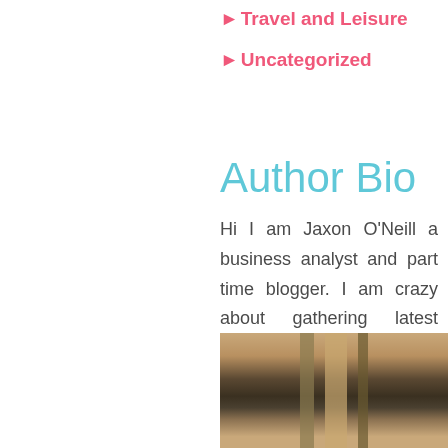►Travel and Leisure
►Uncategorized
Author Bio
Hi I am Jaxon O'Neill a business analyst and part time blogger. I am crazy about gathering latest information around the world. I have started this blog to share my knowledge & experience.
[Figure (photo): Photo of the author, showing the top of a person's head with graduation cap or hat, dark background]